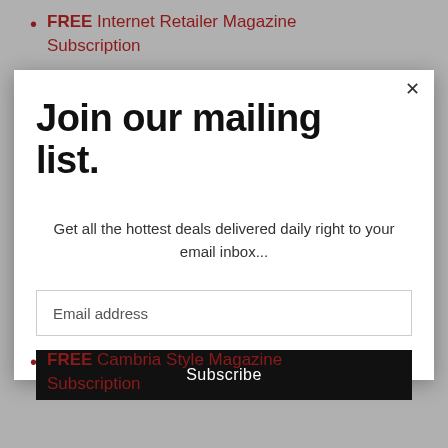FREE Internet Retailer Magazine Subscription
[Figure (screenshot): Modal popup with 'Join our mailing list.' title, subtitle text, email address input field, and Subscribe button]
FREE Cambria Style Magazine Subscription